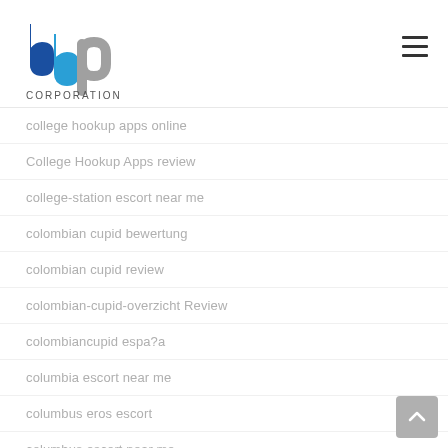[Figure (logo): BBP Corporation logo with blue and grey letters and CORPORATION text below]
college hookup apps online
College Hookup Apps review
college-station escort near me
colombian cupid bewertung
colombian cupid review
colombian-cupid-overzicht Review
colombiancupid espa?a
columbia escort near me
columbus eros escort
columbus escort near me